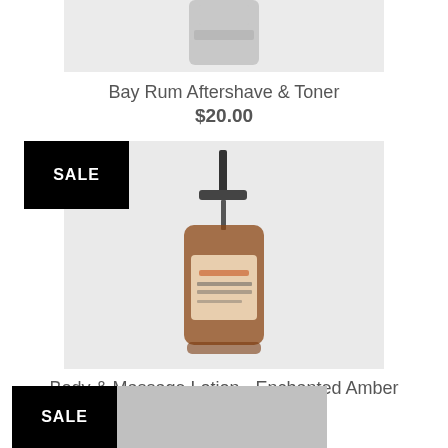[Figure (photo): Top portion of a product image (Bay Rum Aftershave & Toner), cropped at top of page, showing bottom of a dark container]
Bay Rum Aftershave & Toner
$20.00
[Figure (photo): Pump bottle of Body & Massage Lotion - Enchanted Amber with a SALE badge overlay in the upper left]
Body & Massage Lotion - Enchanted Amber
$14.40 $18.00
[Figure (photo): Bottom partial view of another product with SALE badge, partially visible at bottom of page]